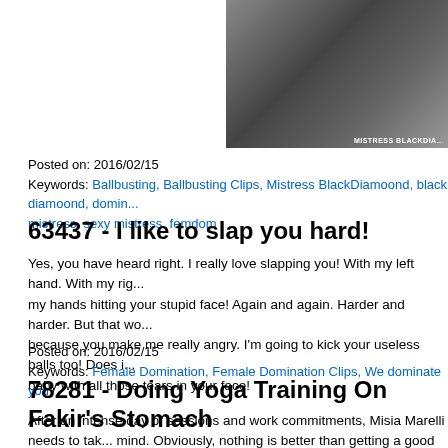[Figure (photo): Photo of people near a car, one person in black clothing and one in a red jacket. Watermark reads MISTRESS BLACKDIA...]
Posted on: 2016/02/15
Keywords: Ballbusting, Ballbusting Clips, Mistress BlackDiamoond, black diamoond, domin... mistress, sexy mistress, femdom
63437 - I like to slap you hard!
Yes, you have heard right. I really love slapping you! With my left hand. With my rig... my hands hitting your stupid face! Again and again. Harder and harder. But that wo... because you make me really angry. I'm going to kick your useless balls too! Does i... baby with all those tears in your face!
Posted on: 2016/02/15
Keywords: Female Domination, Female Domination Clips, We dominate you
78281 - Doing Yoga Training On Fakir's Stomach
After an intense day of sessions and work commitments, Misia Marelli needs to tak... mind. Obviously, nothing is better than getting a good yoga workout to improve you... her fakir friend if it's ok to use his abs as a soft carpet for her training exercises. Im... down on the floor, while Misia climbs on his stomach in lotus position. When she re... concentration, it's time to leave the sitting position to take a different position, stand... abs (with both feet and in balance on one foot). A relaxing and pleasant time... at le...